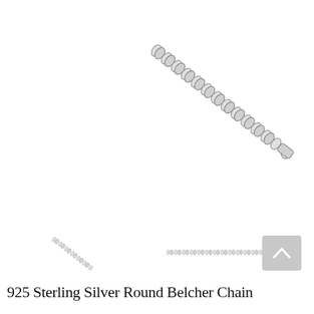[Figure (photo): Close-up product photo of a 925 Sterling Silver Round Belcher Chain, shown diagonally from upper-center to lower-right, white background. The chain shows round interlocking links with a lobster clasp at the bottom right end.]
[Figure (photo): Small thumbnail image of the same sterling silver chain shown at a smaller scale diagonally, white background.]
[Figure (photo): Small thumbnail image of the chain shown horizontally at a smaller scale, white background.]
925 Sterling Silver Round Belcher Chain